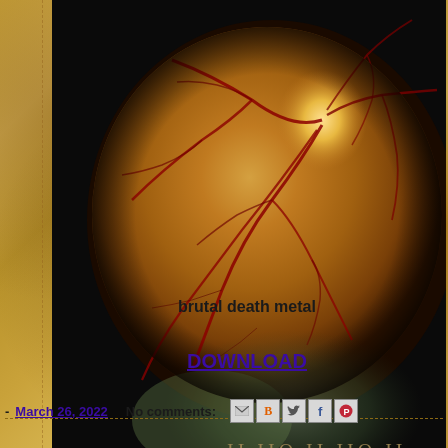[Figure (photo): Album cover artwork showing a close-up ophthalmology retinal fundus image (eye/retina) in orange-brown tones with red blood vessels visible, against black background. Roman numerals text overlay reads 'II IIO II IIO II' in the lower portion of the image. The image is framed with a white border.]
brutal death metal
DOWNLOAD
- March 26, 2022
No comments: